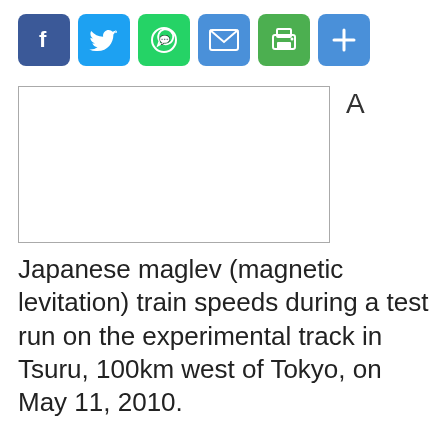[Figure (other): Social share buttons row: Facebook (blue), Twitter (blue), WhatsApp (green), Email (blue), Print (green), More/Plus (blue)]
[Figure (photo): Empty/blank image placeholder box with a font-size 'A' indicator to the right]
Japanese maglev (magnetic levitation) train speeds during a test run on the experimental track in Tsuru, 100km west of Tokyo, on May 11, 2010.